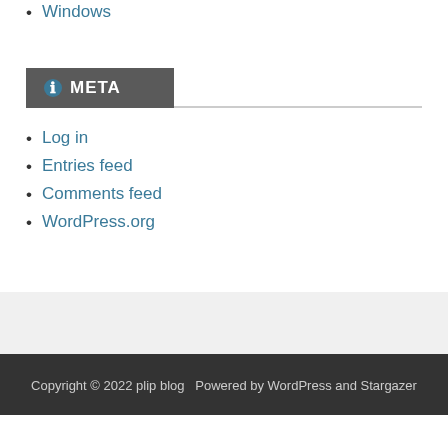Windows
META
Log in
Entries feed
Comments feed
WordPress.org
Copyright © 2022 plip blog  Powered by WordPress and Stargazer